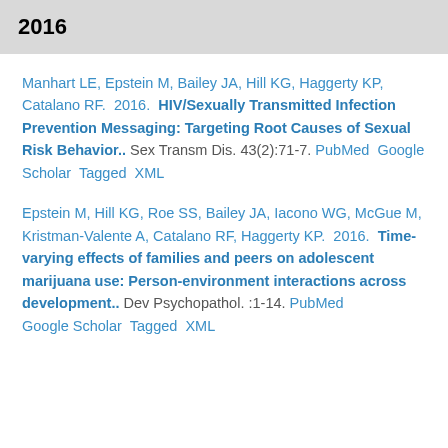2016
Manhart LE, Epstein M, Bailey JA, Hill KG, Haggerty KP, Catalano RF.  2016.  HIV/Sexually Transmitted Infection Prevention Messaging: Targeting Root Causes of Sexual Risk Behavior..  Sex Transm Dis. 43(2):71-7.  PubMed  Google Scholar  Tagged  XML
Epstein M, Hill KG, Roe SS, Bailey JA, Iacono WG, McGue M, Kristman-Valente A, Catalano RF, Haggerty KP.  2016.  Time-varying effects of families and peers on adolescent marijuana use: Person-environment interactions across development..  Dev Psychopathol. :1-14.  PubMed  Google Scholar  Tagged  XML